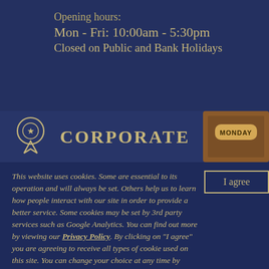Opening hours:
Mon - Fri: 10:00am - 5:30pm
Closed on Public and Bank Holidays
CORPORATE
[Figure (illustration): Brown leather Monday tab/divider image in upper right of corporate section]
This website uses cookies. Some are essential to its operation and will always be set. Others help us to learn how people interact with our site in order to provide a better service. Some cookies may be set by 3rd party services such as Google Analytics. You can find out more by viewing our Privacy Policy. By clicking on "I agree" you are agreeing to receive all types of cookie used on this site. You can change your choice at any time by clicking on the Cookies link in the footer of the website.
I agree